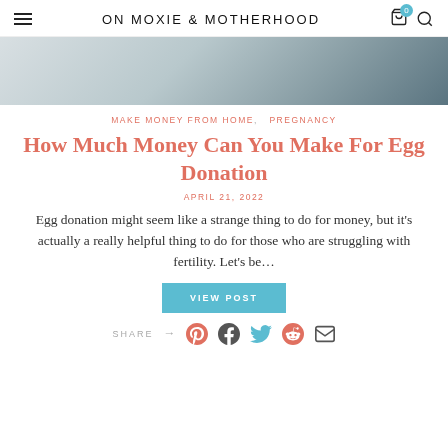ON MOXIE & MOTHERHOOD
[Figure (photo): Partial view of a woman working, cropped image at top of page]
MAKE MONEY FROM HOME,   PREGNANCY
How Much Money Can You Make For Egg Donation
APRIL 21, 2022
Egg donation might seem like a strange thing to do for money, but it's actually a really helpful thing to do for those who are struggling with fertility. Let's be…
VIEW POST
SHARE